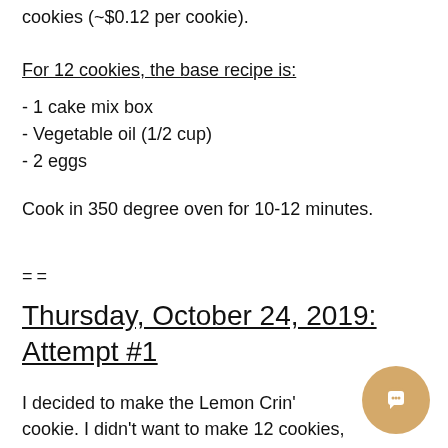cookies (~$0.12 per cookie).
For 12 cookies, the base recipe is:
- 1 cake mix box
- Vegetable oil (1/2 cup)
- 2 eggs
Cook in 350 degree oven for 10-12 minutes.
==
Thursday, October 24, 2019: Attempt #1
I decided to make the Lemon Crin' cookie.  I didn't want to make 12 cookies, so I did some calculations to